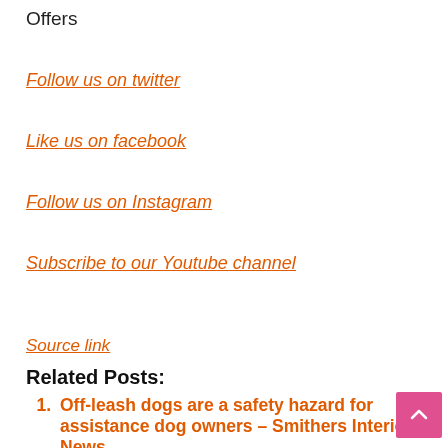Offers
Follow us on twitter
Like us on facebook
Follow us on Instagram
Subscribe to our Youtube channel
Source link
Related Posts:
Off-leash dogs are a safety hazard for assistance dog owners – Smithers Interior News